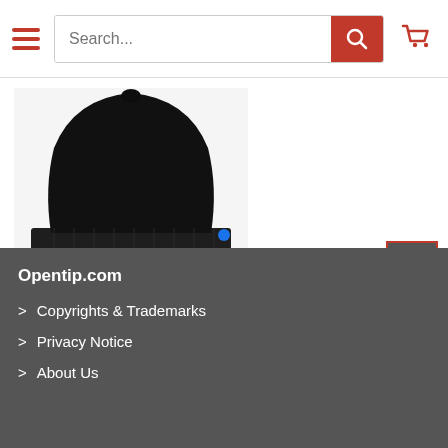Search...
[Figure (photo): Black knit cuff beanie product photo on white background]
Port Authority ® Knit Cuff Beanie - C939
$5.58
Opentip.com
> Copyrights & Trademarks
> Privacy Notice
> About Us